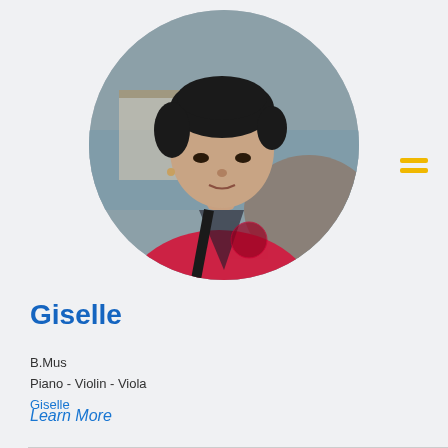[Figure (photo): Circular cropped portrait photo of a young Asian woman with short dark hair, wearing a red jacket, standing outdoors near water and rocks.]
Giselle
B.Mus
Piano - Violin - Viola
Giselle
Learn More